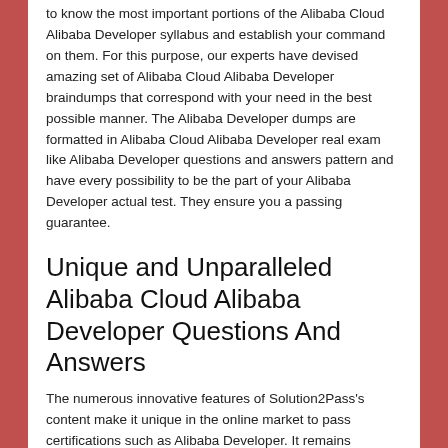to know the most important portions of the Alibaba Cloud Alibaba Developer syllabus and establish your command on them. For this purpose, our experts have devised amazing set of Alibaba Cloud Alibaba Developer braindumps that correspond with your need in the best possible manner. The Alibaba Developer dumps are formatted in Alibaba Cloud Alibaba Developer real exam like Alibaba Developer questions and answers pattern and have every possibility to be the part of your Alibaba Developer actual test. They ensure you a passing guarantee.
Unique and Unparalleled Alibaba Cloud Alibaba Developer Questions And Answers
The numerous innovative features of Solution2Pass's content make it unique in the online market to pass certifications such as Alibaba Developer. It remains unparalleled among the host of online courses free available to exam candidates. They prove just a waste of time as the free courses are just to woo